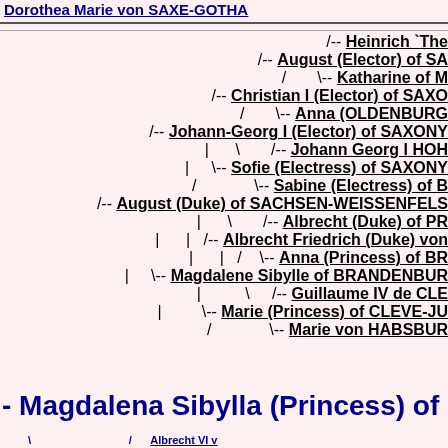Dorothea Marie von SAXE-GOTHA
[Figure (other): Genealogical tree diagram showing ancestry including Heinrich 'The...', August (Elector) of SA..., Katharine of M..., Christian I (Elector) of SAXO..., Anna (OLDENBURG..., Johann-Georg I (Elector) of SAXONY..., Johann Georg I HOH..., Sofie (Electress) of SAXONY..., Sabine (Electress) of B..., August (Duke) of SACHSEN-WEISSENFELS..., Albrecht (Duke) of PR..., Albrecht Friedrich (Duke) von..., Anna (Princess) of BR..., Magdalene Sibylle of BRANDENBURG..., Guillaume IV de CLE..., Marie (Princess) of CLEVE-JU..., Marie von HABSBUR...]
Magdalena Sibylla (Princess) of
Albrecht VI v...